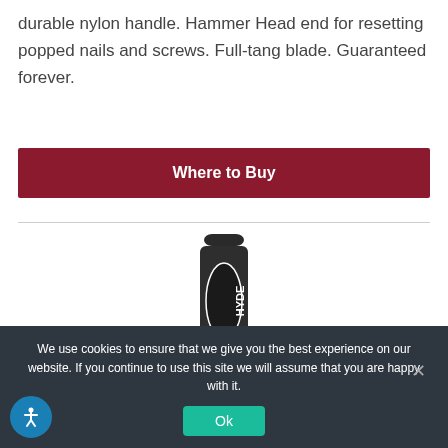durable nylon handle. Hammer Head end for resetting popped nails and screws. Full-tang blade. Guaranteed forever.
Where to Buy
[Figure (photo): Close-up photo of a Hyde brand tool handle, black with the HYDE logo in white text, metal rivets visible.]
We use cookies to ensure that we give you the best experience on our website. If you continue to use this site we will assume that you are happy with it.
Ok